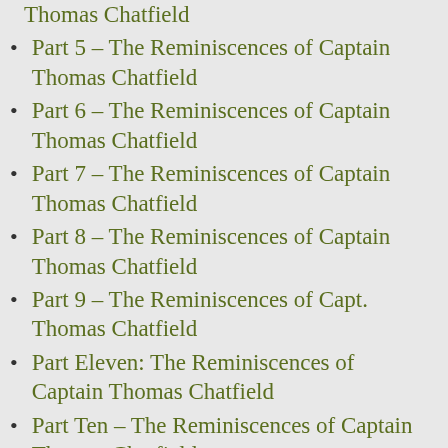Part 5 – The Reminiscences of Captain Thomas Chatfield
Part 6 – The Reminiscences of Captain Thomas Chatfield
Part 7 – The Reminiscences of Captain Thomas Chatfield
Part 8 – The Reminiscences of Captain Thomas Chatfield
Part 9 – The Reminiscences of Capt. Thomas Chatfield
Part Eleven: The Reminiscences of Captain Thomas Chatfield
Part Ten – The Reminiscences of Captain Thomas Chatfield
Part 2 – The Reminscences of Captain Thomas Chatfield